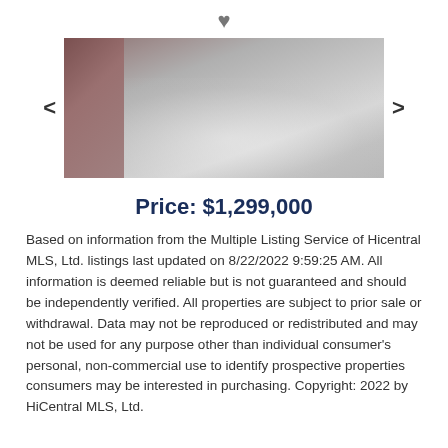[Figure (photo): Property photo showing a concrete or stone surface, partially cropped, with navigation arrows on each side and a heart/favorite icon above]
Price: $1,299,000
Based on information from the Multiple Listing Service of Hicentral MLS, Ltd. listings last updated on 8/22/2022 9:59:25 AM. All information is deemed reliable but is not guaranteed and should be independently verified. All properties are subject to prior sale or withdrawal. Data may not be reproduced or redistributed and may not be used for any purpose other than individual consumer's personal, non-commercial use to identify prospective properties consumers may be interested in purchasing. Copyright: 2022 by HiCentral MLS, Ltd.